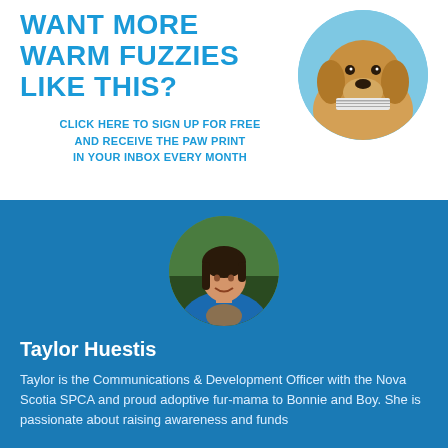WANT MORE WARM FUZZIES LIKE THIS?
CLICK HERE TO SIGN UP FOR FREE AND RECEIVE THE PAW PRINT IN YOUR INBOX EVERY MONTH
[Figure (photo): Golden retriever dog holding a newspaper in its mouth, circular cropped photo on blue sky background]
[Figure (photo): Circular portrait photo of Taylor Huestis, a young woman in a blue shirt holding a small animal, outdoors with trees in background]
Taylor Huestis
Taylor is the Communications & Development Officer with the Nova Scotia SPCA and proud adoptive fur-mama to Bonnie and Boy. She is passionate about raising awareness and funds